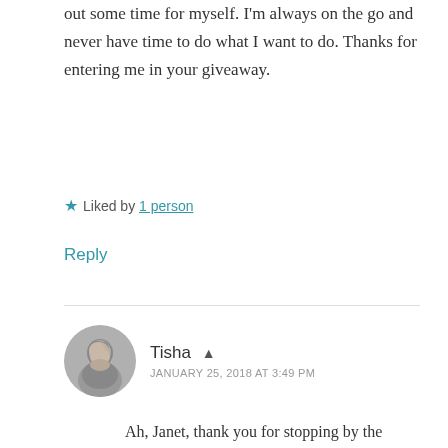out some time for myself. I'm always on the go and never have time to do what I want to do. Thanks for entering me in your giveaway.
★ Liked by 1 person
Reply
Tisha  ▲
JANUARY 25, 2018 AT 3:49 PM
Ah, Janet, thank you for stopping by the blog! I pray you're able to carve out adequate time for yourself, for it's in those moments we can refresh and keep going. Blessings to you in the New Year.